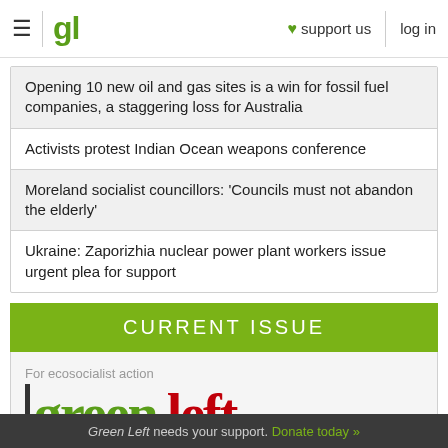≡ | gl ♥ support us log in
Opening 10 new oil and gas sites is a win for fossil fuel companies, a staggering loss for Australia
Activists protest Indian Ocean weapons conference
Moreland socialist councillors: 'Councils must not abandon the elderly'
Ukraine: Zaporizhia nuclear power plant workers issue urgent plea for support
CURRENT ISSUE
[Figure (logo): Green Left magazine cover preview showing tagline 'For ecosocialist action' and large 'green left' text in green and red]
Green Left needs your support. Donate today »